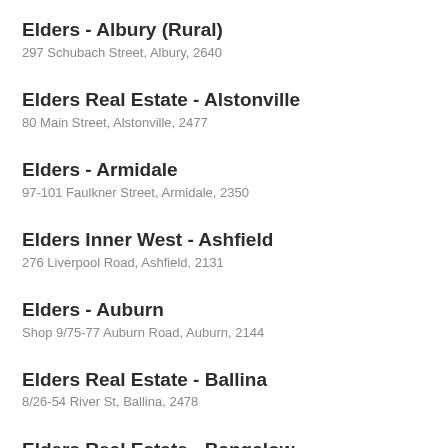Elders - Albury (Rural)
297 Schubach Street, Albury, 2640
Elders Real Estate - Alstonville
80 Main Street, Alstonville, 2477
Elders - Armidale
97-101 Faulkner Street, Armidale, 2350
Elders Inner West - Ashfield
276 Liverpool Road, Ashfield, 2131
Elders - Auburn
Shop 9/75-77 Auburn Road, Auburn, 2144
Elders Real Estate - Ballina
8/26-54 River St, Ballina, 2478
Elders Real Estate - Bangalow